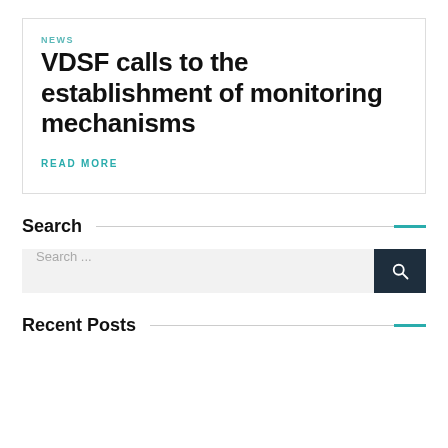NEWS
VDSF calls to the establishment of monitoring mechanisms
READ MORE
Search
Search ...
Recent Posts